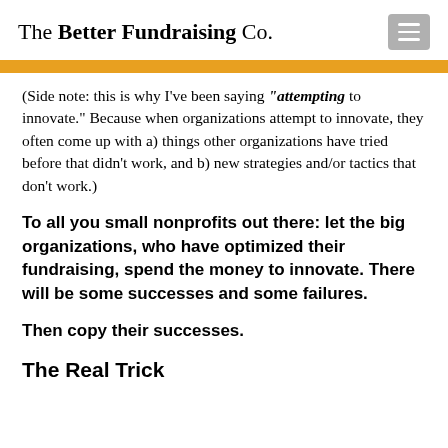The Better Fundraising Co.
(Side note: this is why I’ve been saying “attempting to innovate.” Because when organizations attempt to innovate, they often come up with a) things other organizations have tried before that didn’t work, and b) new strategies and/or tactics that don’t work.)
To all you small nonprofits out there: let the big organizations, who have optimized their fundraising, spend the money to innovate. There will be some successes and some failures.
Then copy their successes.
The Real Trick